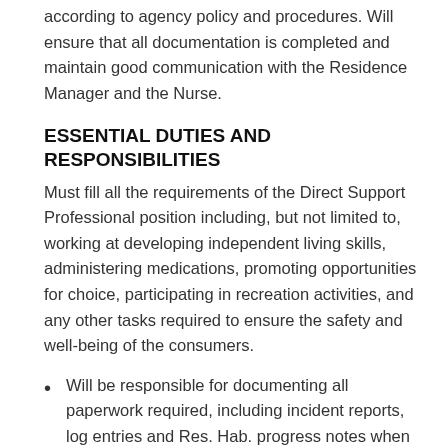according to agency policy and procedures. Will ensure that all documentation is completed and maintain good communication with the Residence Manager and the Nurse.
ESSENTIAL DUTIES AND RESPONSIBILITIES
Must fill all the requirements of the Direct Support Professional position including, but not limited to, working at developing independent living skills, administering medications, promoting opportunities for choice, participating in recreation activities, and any other tasks required to ensure the safety and well-being of the consumers.
Will be responsible for documenting all paperwork required, including incident reports, log entries and Res. Hab. progress notes when appropriate.
Will track all medical appointments and follow-up appointments and document in tracking forms.